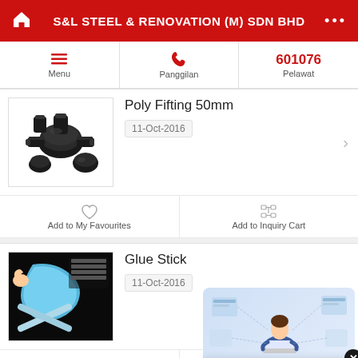S&L STEEL & RENOVATION (M) SDN BHD
Menu | Panggilan | 601076 Pelawat
Poly Fifting 50mm
11-Oct-2016
Add to My Favourites | Add to Inquiry Cart
Glue Stick
11-Oct-2016
What are you looking for? Let us know what you need. Click here to get your free quote now!
Add to My Favourites | Add to Inquiry Cart
Glue Stick